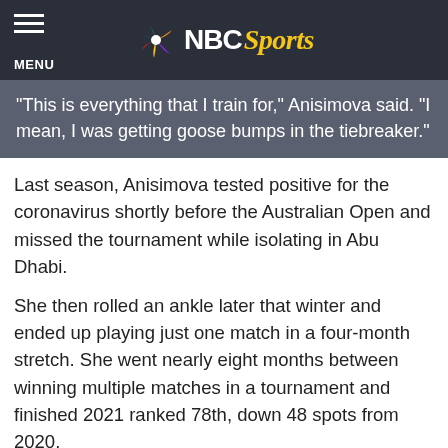NBC Sports — MENU
"This is everything that I train for," Anisimova said. "I mean, I was getting goose bumps in the tiebreaker."
Last season, Anisimova tested positive for the coronavirus shortly before the Australian Open and missed the tournament while isolating in Abu Dhabi.
She then rolled an ankle later that winter and ended up playing just one match in a four-month stretch. She went nearly eight months between winning multiple matches in a tournament and finished 2021 ranked 78th, down 48 spots from 2020.
Anisimova started working with respected Australian coach Darren Cahill going into this season. She won an Australian Open lead-in tournament in Melbourne, her second WTA title and first since April 2019.
"I really wanted to be having those moments again,"